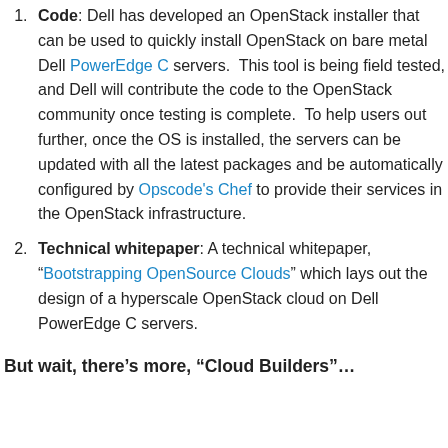Code: Dell has developed an OpenStack installer that can be used to quickly install OpenStack on bare metal Dell PowerEdge C servers.  This tool is being field tested, and Dell will contribute the code to the OpenStack community once testing is complete.  To help users out further, once the OS is installed, the servers can be updated with all the latest packages and be automatically configured by Opscode's Chef to provide their services in the OpenStack infrastructure.
Technical whitepaper: A technical whitepaper, "Bootstrapping OpenSource Clouds" which lays out the design of a hyperscale OpenStack cloud on Dell PowerEdge C servers.
But wait, there’s more, “Cloud Builders”…